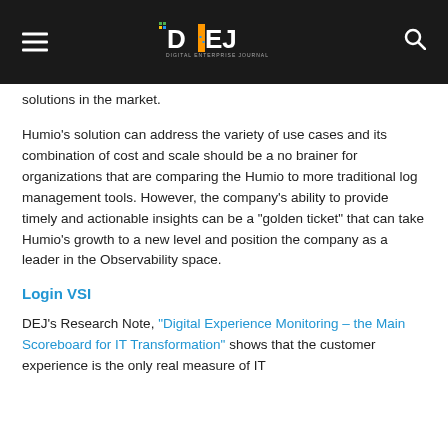DEJ Digital Enterprise Journal
solutions in the market.
Humio’s solution can address the variety of use cases and its combination of cost and scale should be a no brainer for organizations that are comparing the Humio to more traditional log management tools. However, the company’s ability to provide timely and actionable insights can be a “golden ticket” that can take Humio’s growth to a new level and position the company as a leader in the Observability space.
Login VSI
DEJ’s Research Note, “Digital Experience Monitoring – the Main Scoreboard for IT Transformation” shows that the customer experience is the only real measure of IT